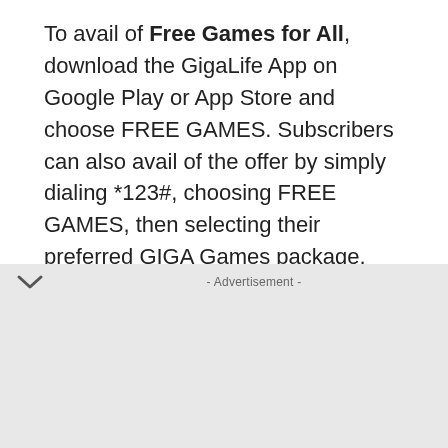To avail of Free Games for All, download the GigaLife App on Google Play or App Store and choose FREE GAMES. Subscribers can also avail of the offer by simply dialing *123#, choosing FREE GAMES, then selecting their preferred GIGA Games package.
For more details on Smart’s upcoming esports events and tournaments, follow Smart’s official accounts on Facebook,Twitter and Instagram.
- Advertisement -